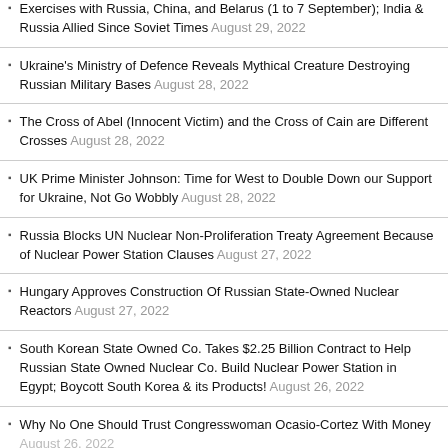Exercises with Russia, China, and Belarus (1 to 7 September); India & Russia Allied Since Soviet Times August 29, 2022
Ukraine's Ministry of Defence Reveals Mythical Creature Destroying Russian Military Bases August 28, 2022
The Cross of Abel (Innocent Victim) and the Cross of Cain are Different Crosses August 28, 2022
UK Prime Minister Johnson: Time for West to Double Down our Support for Ukraine, Not Go Wobbly August 28, 2022
Russia Blocks UN Nuclear Non-Proliferation Treaty Agreement Because of Nuclear Power Station Clauses August 27, 2022
Hungary Approves Construction Of Russian State-Owned Nuclear Reactors August 27, 2022
South Korean State Owned Co. Takes $2.25 Billion Contract to Help Russian State Owned Nuclear Co. Build Nuclear Power Station in Egypt; Boycott South Korea & its Products! August 26, 2022
Why No One Should Trust Congresswoman Ocasio-Cortez With Money August 26, 2022
Russia Has Put Ukraine, All Europeans & The World One Step Away Nuclear Disaster August 26, 2022
UK Prime Minister Boris Johnson Visited Ukraine on its Independence